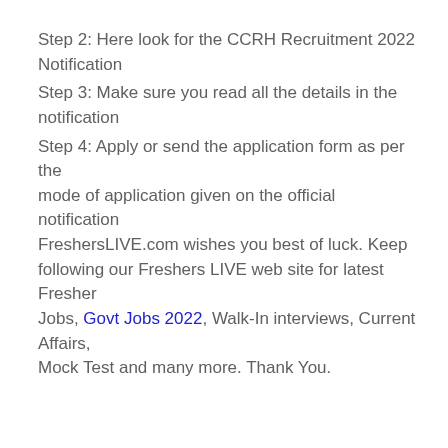Step 2: Here look for the CCRH Recruitment 2022 Notification
Step 3: Make sure you read all the details in the notification
Step 4: Apply or send the application form as per the mode of application given on the official notification FreshersLIVE.com wishes you best of luck. Keep following our Freshers LIVE web site for latest Fresher Jobs, Govt Jobs 2022, Walk-In interviews, Current Affairs, Mock Test and many more. Thank You.